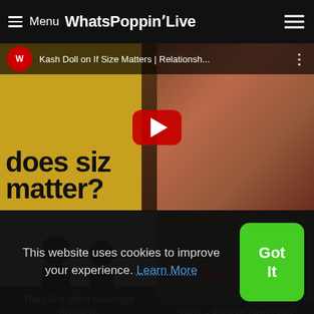≡ Menu WhatsPoppinLive
[Figure (screenshot): YouTube video thumbnail for 'Kash Doll on If Size Matters | Relationsh...' showing does size matter? text and a woman in pink outfit]
[Figure (photo): Silhouette of couple facing each other - card thumbnail for 'The US's child marriage problem']
[Figure (photo): Photo of Tank musician - card thumbnail for 'Tank - Please Don't Go']
This website uses cookies to improve your experience. Learn More
Got It